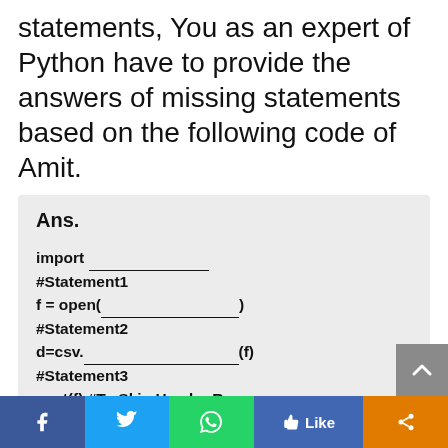statements, You as an expert of Python have to provide the answers of missing statements based on the following code of Amit.
Ans.

import ________________
#Statement1
f = open(________________)
#Statement2
d=csv.________________(f)
#Statement3
next(f) #To Skip Header Row
k = 0
adm = int(input("Enter admission